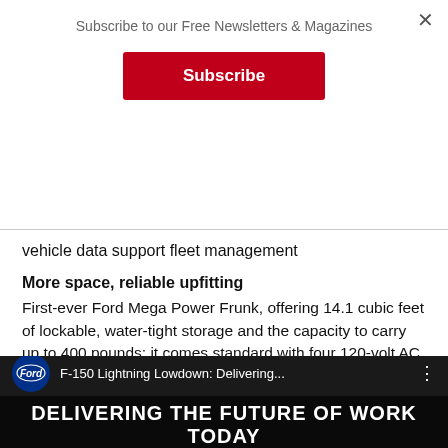Subscribe to our Free Newsletters & Magazines
vehicle data support fleet management
More space, reliable upfitting
First-ever Ford Mega Power Frunk, offering 14.1 cubic feet of lockable, water-tight storage and the capacity to carry up to 400 pounds; it comes standard with four 120-volt AC outlets and two USB ports, with two more outlets in the cab and two in the 5.5-foot rear cargo bed, which is ready for easy upfitting with its familiar F-150 dimensions and mounting points
[Figure (screenshot): Video thumbnail showing Ford logo and title 'F-150 Lightning Lowdown: Delivering...' with banner text 'DELIVERING THE FUTURE OF WORK TODAY']